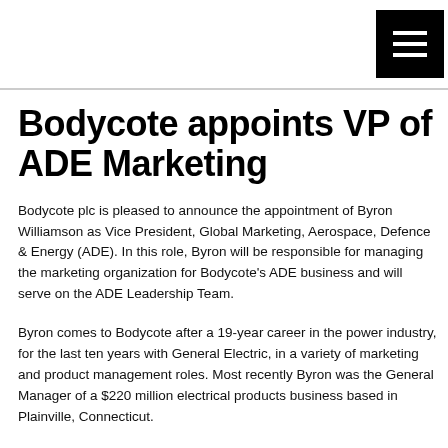[Figure (other): Hamburger menu button (three white horizontal lines on black background) in top-right corner of page header]
Bodycote appoints VP of ADE Marketing
Bodycote plc is pleased to announce the appointment of Byron Williamson as Vice President, Global Marketing, Aerospace, Defence & Energy (ADE). In this role, Byron will be responsible for managing the marketing organization for Bodycote's ADE business and will serve on the ADE Leadership Team.
Byron comes to Bodycote after a 19-year career in the power industry, for the last ten years with General Electric, in a variety of marketing and product management roles. Most recently Byron was the General Manager of a $220 million electrical products business based in Plainville, Connecticut.